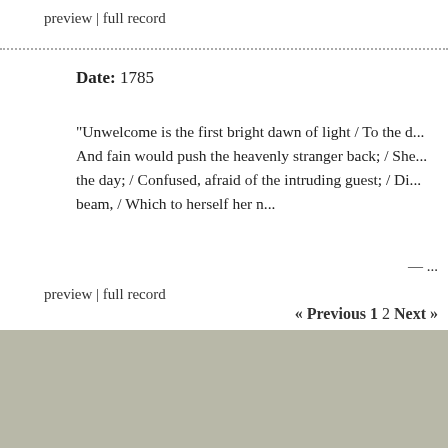preview | full record
Date: 1785
"Unwelcome is the first bright dawn of light / To the d... And fain would push the heavenly stranger back; / She... the day; / Confused, afraid of the intruding guest; / Di... beam, / Which to herself her n...
— ...
preview | full record
« Previous 1 2 Next »
The Mind is a Metaphor is authored by Brad Pasanek, Assistant Professor of English, University of Virginia. This v... Subscr...